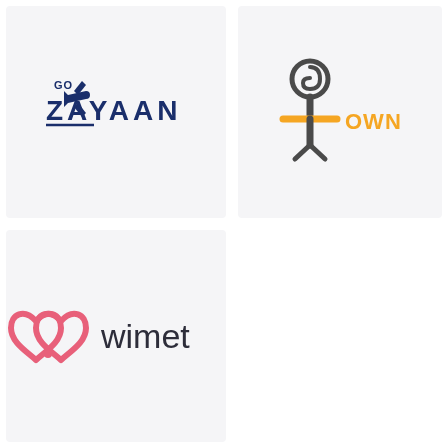[Figure (logo): Go Zayaan logo: airplane icon with dark navy blue stylized text 'ZAYAAN' and small 'GO' above, with a line swoosh under the Z]
[Figure (logo): OWN logo: a spiral/snail figure icon in dark gray forming a person shape with yellow T-bar arms/torso, text 'OWN' in yellow to the right]
[Figure (logo): wimet logo: pink/coral double heart-with-pin icon on left, dark gray lowercase text 'wimet' on right]
[Figure (logo): Bottom right cell is empty white space]